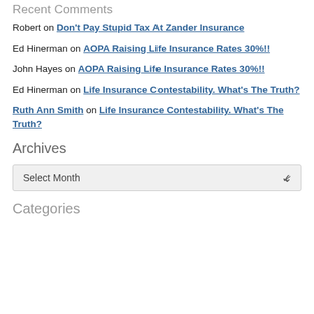Recent Comments
Robert on Don't Pay Stupid Tax At Zander Insurance
Ed Hinerman on AOPA Raising Life Insurance Rates 30%!!
John Hayes on AOPA Raising Life Insurance Rates 30%!!
Ed Hinerman on Life Insurance Contestability. What's The Truth?
Ruth Ann Smith on Life Insurance Contestability. What's The Truth?
Archives
Select Month
Categories